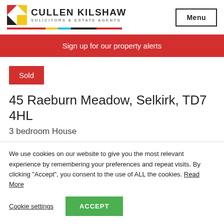[Figure (logo): Cullen Kilshaw Solicitors & Estate Agents logo with colorful geometric icon and colored bar beneath]
Menu
Sign up for our property alerts
Sold
45 Raeburn Meadow, Selkirk, TD7 4HL
3 bedroom House
We use cookies on our website to give you the most relevant experience by remembering your preferences and repeat visits. By clicking “Accept”, you consent to the use of ALL the cookies. Read More
Cookie settings
ACCEPT